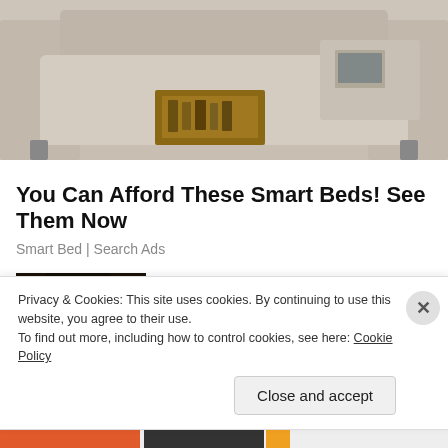[Figure (photo): Partial view of a smart bed/furniture piece with storage drawers, beige/tan upholstery, showing drawer open with items inside]
You Can Afford These Smart Beds! See Them Now
Smart Bed | Search Ads
[Figure (photo): Trail camera image of a deer at night, dark background with brown deer visible]
Most Disturbing Images Caught By Trail Cams Derives From Virginia...
Bon Voyaged
Privacy & Cookies: This site uses cookies. By continuing to use this website, you agree to their use.
To find out more, including how to control cookies, see here: Cookie Policy
Close and accept